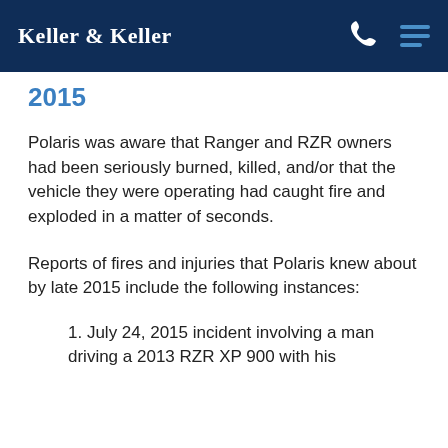Keller & Keller
2015
Polaris was aware that Ranger and RZR owners had been seriously burned, killed, and/or that the vehicle they were operating had caught fire and exploded in a matter of seconds.
Reports of fires and injuries that Polaris knew about by late 2015 include the following instances:
1. July 24, 2015 incident involving a man driving a 2013 RZR XP 900 with his